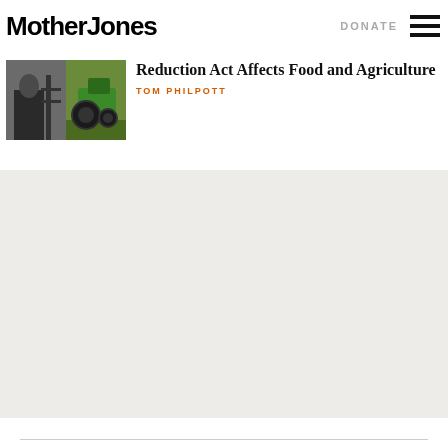Mother Jones — DONATE
[Figure (photo): Composite image of a man in a suit (black and white) and a green tractor on a field (color), related to food and agriculture article]
Reduction Act Affects Food and Agriculture
TOM PHILPOTT